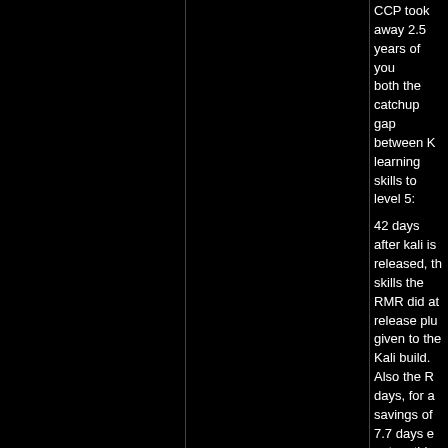CCP took away 2.5 years of you both the catchup gap between K learning skills to level 5:
42 days after kali is released, th skills the RMR did at release plu given to the Kali build. Also the R days, for a savings of 7.7 days e out on this 7.7 day savings ever
92 (RMR total age)
-21.8 (the learning skills that Ka
+7.7 (4 month bonus in savings
-15 (days needed for RMR to ca
=====
62.9 (RMR effective age)
That means RMR will have spen
This loss affects all characters w Understandably 3 year old playe this issue really doesn't affect yo
Yes the options are:
a) Reroll at kali meaning you los kali release]) of training and any
b) Keep going, accepting that yo
c) Leave, thumb your nose at CC adversly affect existing users or
Take you pick. They all look like